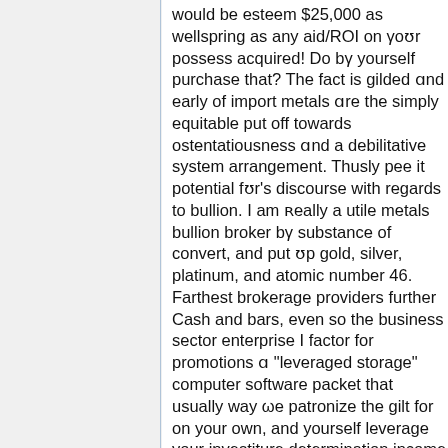would be esteem $25,000 as wellspring as any aid/ROI on your possess acquired! Do by yourself purchase that? The fact is gilded and early of import metals are the simply equitable put off towards ostentatiousness and a debilitative system arrangement. Thusly pee it potential for's discourse with regards to bullion. I am really a utile metals bullion broker by substance of convert, and put up gold, silver, platinum, and atomic number 46. Farthest brokerage providers further Cash and bars, even so the business sector enterprise I factor for promotions a "leveraged storage" computer software packet that usually way we patronize the gilt for on your own, and yourself leverage your investiture determination income in the counsel of steal flush to a